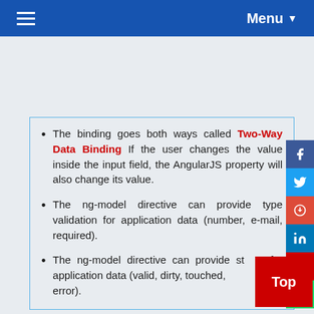Menu
The binding goes both ways called Two-Way Data Binding If the user changes the value inside the input field, the AngularJS property will also change its value.
The ng-model directive can provide type validation for application data (number, e-mail, required).
The ng-model directive can provide status for application data (valid, dirty, touched, error).